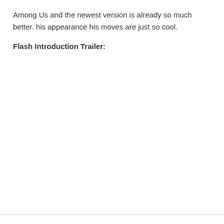Among Us and the newest version is already so much better. his appearance his moves are just so cool.
Flash Introduction Trailer: